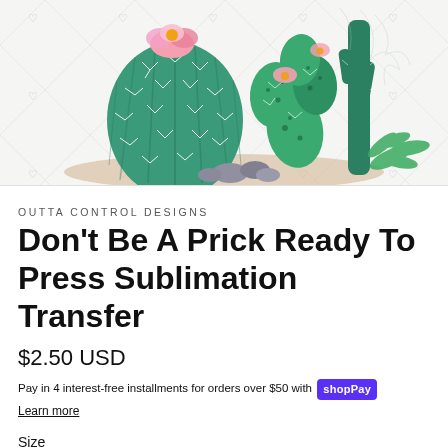[Figure (illustration): Watercolor illustration of blooming cacti with pink flowers, rocks, and a succulent on a white background with a watermark diamond grid pattern and heart icons.]
OUTTA CONTROL DESIGNS
Don't Be A Prick Ready To Press Sublimation Transfer
$2.50 USD
Pay in 4 interest-free installments for orders over $50 with Shop Pay
Learn more
Size
Mug (3-4 inches)
Infant (5-6 inches)